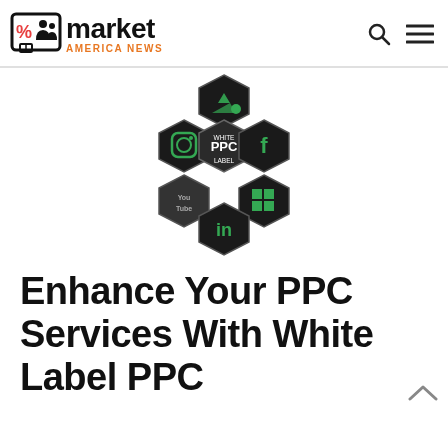market AMERICA NEWS
[Figure (illustration): Hexagonal cluster of social media/advertising platform icons (Google Ads, Instagram, Facebook, YouTube, LinkedIn, Microsoft/Windows) surrounding a central 'WHITE PPC LABEL' hexagon, all on black hexagons with green icons]
Enhance Your PPC Services With White Label PPC